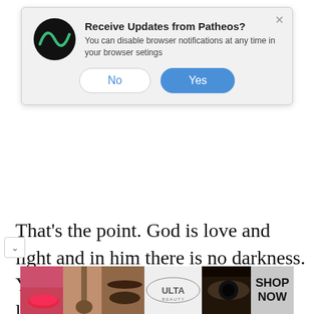[Figure (screenshot): Browser notification dialog asking 'Receive Updates from Patheos?' with No and Yes buttons. Patheos logo (black circle with green arc) shown on left. Text reads: 'You can disable browser notifications at any time in your browser setings'. No button is white with blue text, Yes button is blue with white text. X close button in top right corner.]
That's the point. God is love and light and in him there is no darkness. You don't have to be afraid of God like you have to be afraid of the dark. God is not like a thief in the dark cover
[Figure (photo): ULTA Beauty advertisement banner showing makeup photos (lips with lipstick, makeup brush, eyebrows, ULTA Beauty logo, dramatic eye makeup) with 'SHOP NOW' text on the right.]